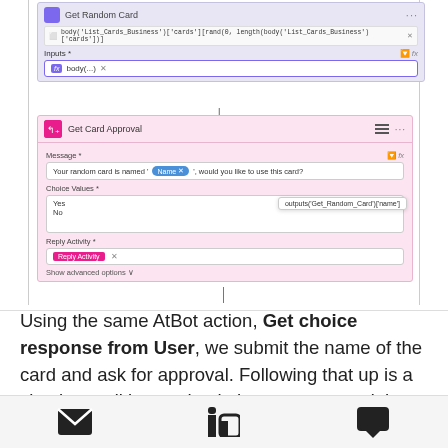[Figure (screenshot): Screenshot of a Power Automate / AtBot flow builder showing two action blocks: 'Get Random Card' (purple header) with an Inputs field showing 'body(...)' formula, connected by a downward arrow to 'Get Card Approval' (pink header) with fields for Message (containing 'Your random card is named [Name], would you like to use this card?'), Choice Values (Yes/No), and Reply Activity, plus a tooltip showing 'outputs('Get_Random_Card')['name']']
Using the same AtBot action, Get choice response from User, we submit the name of the card and ask for approval. Following that up is a simple condition to check the response and then setting the varCardID accordingly:
[Figure (screenshot): Bottom navigation bar with email, LinkedIn, and chat icons]